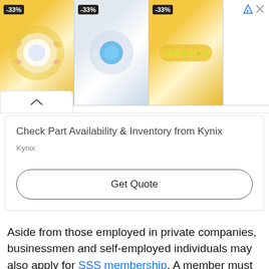[Figure (photo): Advertisement banner showing three jewelry rings with -33% discount tags]
Check Part Availability & Inventory from Kynix
Kynix
Get Quote
Aside from those employed in private companies, businessmen and self-employed individuals may also apply for SSS membership. A member must pay for the SSS monthly contribution rate to be entitled to the benefits